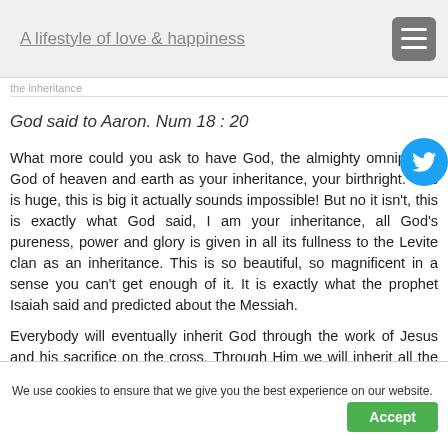A lifestyle of love & happiness
the inheritance
God said to Aaron. Num 18 : 20
What more could you ask to have God, the almighty omnipotent God of heaven and earth as your inheritance, your birthright. This is huge, this is big it actually sounds impossible! But no it isn't, this is exactly what God said, I am your inheritance, all God's pureness, power and glory is given in all its fullness to the Levite clan as an inheritance. This is so beautiful, so magnificent in a sense you can't get enough of it. It is exactly what the prophet Isaiah said and predicted about the Messiah.
Everybody will eventually inherit God through the work of Jesus and his sacrifice on the cross. Through Him we will inherit all the goodness, blessings and graces, God wants to bestow on his people. Since we are his children, we will possess the blessings he keeps for his people, and we will
We use cookies to ensure that we give you the best experience on our website.